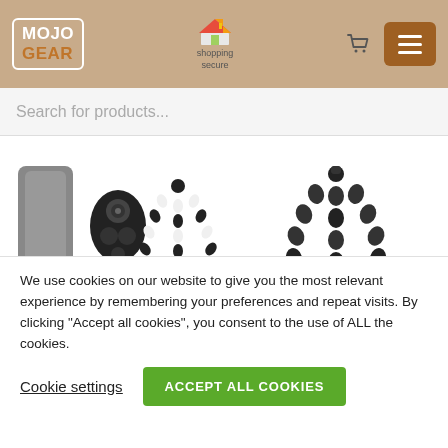MOJO GEAR | shopping secure
Search for products...
[Figure (photo): Flexible tripod with black and white segmented legs and a bluetooth shutter remote, with a gray bag]
Flexible tripod with extra flexible legs SET: includes
[Figure (photo): Flexible mini tripod with black foam rubber legs]
Flexible mini tripod with foam rubber legs
We use cookies on our website to give you the most relevant experience by remembering your preferences and repeat visits. By clicking “Accept all cookies”, you consent to the use of ALL the cookies.
Cookie settings
ACCEPT ALL COOKIES